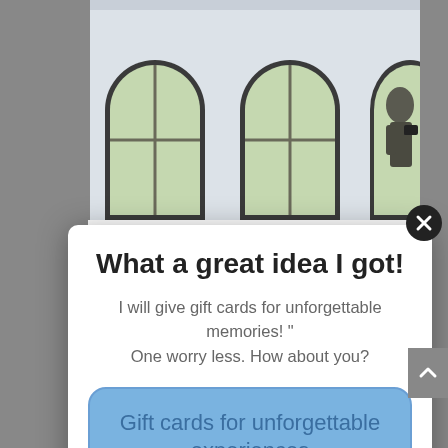[Figure (photo): Photograph of a building exterior with arched windows; a person visible in the right portion of the image against a light-colored wall.]
What a great idea I got!
I will give gift cards for unforgettable memories! " One worry less. How about you?
Gift cards for unforgettable experiences
among them also tour guiding. The main role of us tourist guides is to present the local heritage, local knowledge and the local way of living to everyone who is visiting our hometowns. Well, since the travelling is...